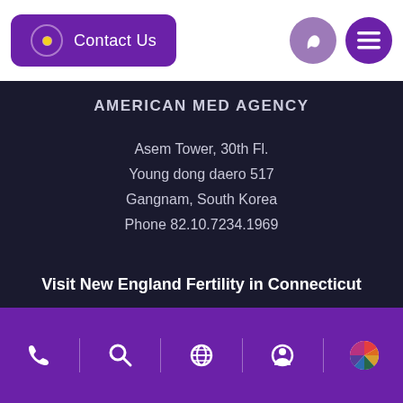[Figure (screenshot): Navigation bar with Contact Us button (purple, with concentric circle icon), phone icon button, and hamburger menu icon button on white background]
AMERICAN MED AGENCY
Asem Tower, 30th Fl.
Young dong daero 517
Gangnam, South Korea
Phone 82.10.7234.1969
Visit New England Fertility in Connecticut
New England Fertility Institute is a premier international destination for families pursuing fertility treatment.
[Figure (screenshot): Purple bottom navigation toolbar with phone, search, globe, profile, and rainbow circle icons separated by vertical dividers]